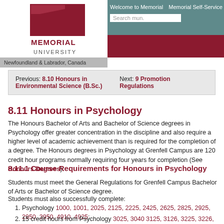[Figure (logo): Memorial University logo with crimson flag shape and text MEMORIAL UNIVERSITY]
Welcome to Memorial   Memorial Self-Service   Search mun.
Newfoundland & Labrador, Canada
Previous: 8.10 Honours in Environmental Science (B.Sc.)   Next: 9 Promotion Regulations
8.11 Honours in Psychology
The Honours Bachelor of Arts and Bachelor of Science degrees in Psychology offer greater concentration in the discipline and also require a higher level of academic achievement than is required for the completion of a degree. The Honours degrees in Psychology at Grenfell Campus are 120 credit hour programs normally requiring four years for completion (See Honours Degrees).
8.11.1 Course Requirements for Honours in Psychology
Students must meet the General Regulations for Grenfell Campus Bachelor of Arts or Bachelor of Science degree.
Students must also successfully complete:
Psychology 1000, 1001, 2025, 2125, 2225, 2425, 2625, 2825, 2925, 2950, 3950, 4910, 4925;
15 credit hours from Psychology 3025, 3040 3125, 3126, 3225, 3226, 3325, 3425, 3525, 3625, 3626, 3627, 3628, 3725, 3825; and